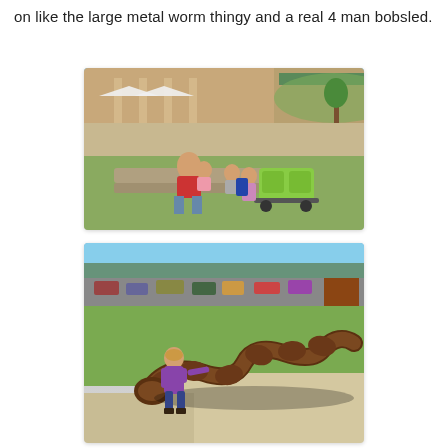on like the large metal worm thingy and a real 4 man bobsled.
[Figure (photo): Outdoor photo of a man in a red shirt sitting with two young children on a low stone wall or ledge, with a green double stroller and a small girl nearby. A large building with columns is visible in the background along with tents/umbrellas.]
[Figure (photo): Outdoor photo of a young child in a purple jacket standing next to and touching a large metal worm-like sculpture on a lawn area, with a parking lot and buildings in the background.]